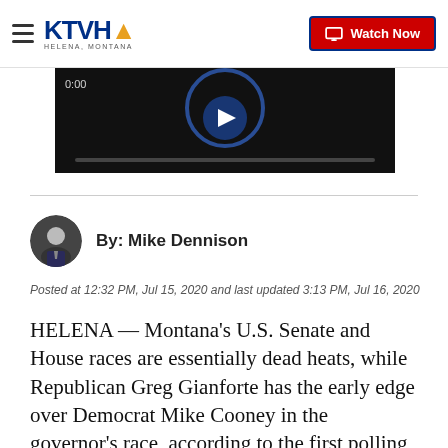KTVH Helena, Montana | Watch Now
[Figure (screenshot): Video player thumbnail showing dark background with play button circle, timestamp 0:00]
By: Mike Dennison
Posted at 12:32 PM, Jul 15, 2020 and last updated 3:13 PM, Jul 16, 2020
HELENA — Montana's U.S. Senate and House races are essentially dead heats, while Republican Greg Gianforte has the early edge over Democrat Mike Cooney in the governor's race, according to the first polling of Montanans by national firms for the 2020 general election.